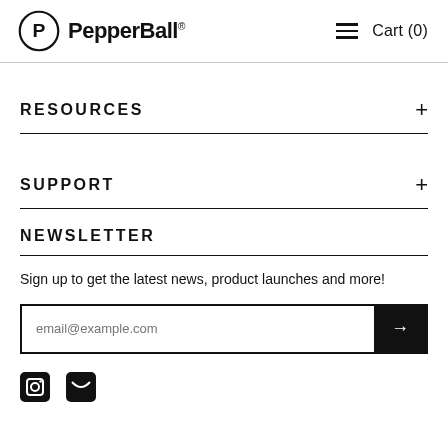PepperBall® — Cart (0)
RESOURCES
SUPPORT
NEWSLETTER
Sign up to get the latest news, product launches and more!
email@example.com